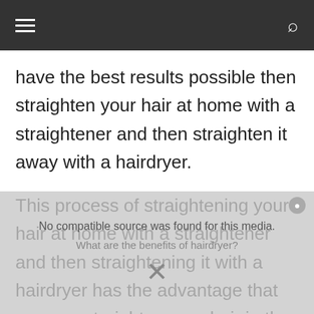Navigation bar with hamburger menu and search icon
have the best results possible then straighten your hair at home with a straightener and then straighten it away with a hairdryer.
This process of straightening your hair at home with a straightener and then straightening it with a hairdryer has the advantage that you can straighten your hair in the comfort of your own home and avoid the cost of
[Figure (screenshot): Video player overlay showing 'No compatible source was found for this media.' message with an X close button and partial subtitle text 'What are the benefits of hairdryer?']